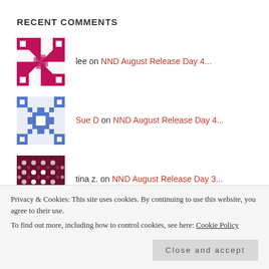RECENT COMMENTS
lee on NND August Release Day 4...
Sue D on NND August Release Day 4...
tina z. on NND August Release Day 3...
Debbie Frank on NND August Release Day 4...
Privacy & Cookies: This site uses cookies. By continuing to use this website, you agree to their use.
To find out more, including how to control cookies, see here: Cookie Policy
Close and accept